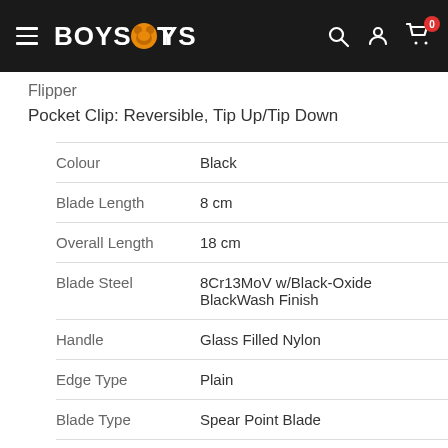BOYS TOYS [logo] — navigation bar
Flipper
Pocket Clip: Reversible, Tip Up/Tip Down
| Property | Value |
| --- | --- |
| Colour | Black |
| Blade Length | 8 cm |
| Overall Length | 18 cm |
| Blade Steel | 8Cr13MoV w/Black-Oxide BlackWash Finish |
| Handle | Glass Filled Nylon |
| Edge Type | Plain |
| Blade Type | Spear Point Blade |